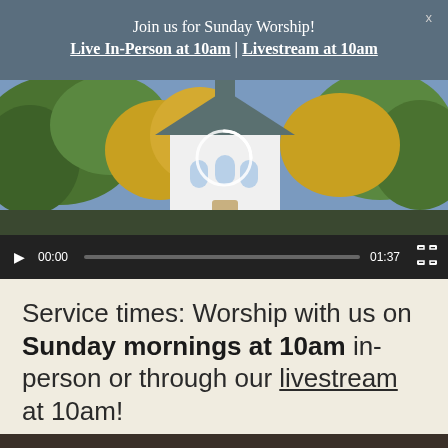Join us for Sunday Worship!
Live In-Person at 10am | Livestream at 10am
[Figure (screenshot): Video player showing a church building surrounded by autumn trees, with playback controls showing 00:00 current time and 01:37 total duration]
Service times: Worship with us on Sunday mornings at 10am in-person or through our livestream at 10am!